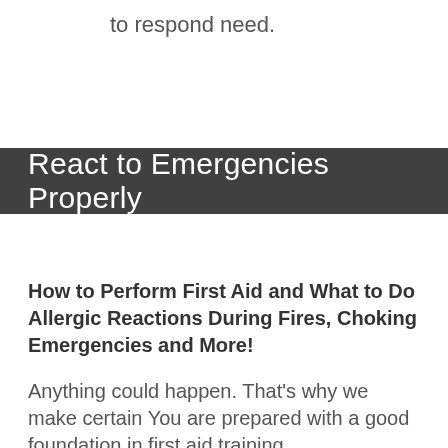to respond need.
React to Emergencies Properly
How to Perform First Aid and What to Do Allergic Reactions During Fires, Choking Emergencies and More!
Anything could happen. That’s why we make certain You are prepared with a good foundation in first aid training